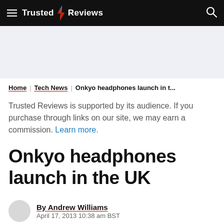Trusted Reviews
Home | Tech News | Onkyo headphones launch in t...
Trusted Reviews is supported by its audience. If you purchase through links on our site, we may earn a commission. Learn more.
Onkyo headphones launch in the UK
By Andrew Williams
April 17, 2013 10:38 am BST